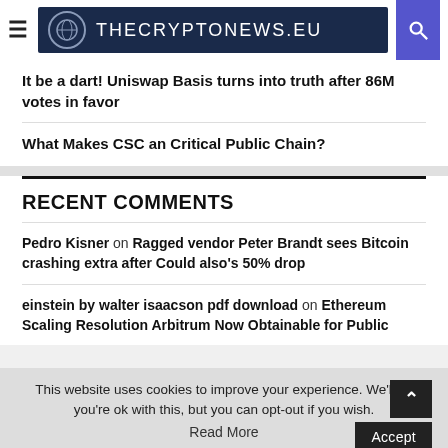THECRYPTONEWS.EU
It be a dart! Uniswap Basis turns into truth after 86M votes in favor
What Makes CSC an Critical Public Chain?
RECENT COMMENTS
Pedro Kisner on Ragged vendor Peter Brandt sees Bitcoin crashing extra after Could also's 50% drop
einstein by walter isaacson pdf download on Ethereum Scaling Resolution Arbitrum Now Obtainable for Public
This website uses cookies to improve your experience. We'll as you're ok with this, but you can opt-out if you wish.
Accept
Read More